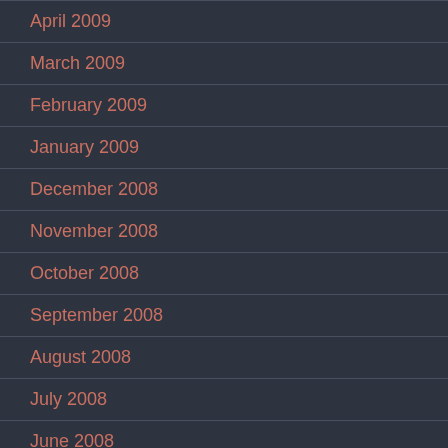April 2009
March 2009
February 2009
January 2009
December 2008
November 2008
October 2008
September 2008
August 2008
July 2008
June 2008